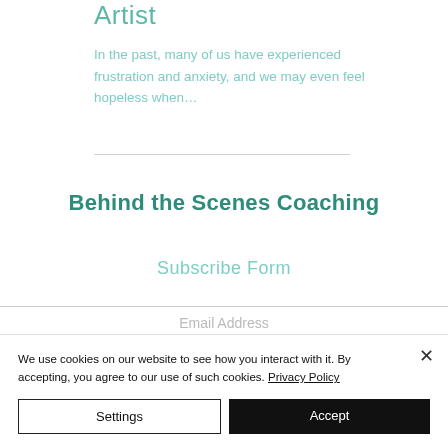Artist
In the past, many of us have experienced frustration and anxiety, and we may even feel hopeless when…
Behind the Scenes Coaching
Subscribe Form
Email Address
We use cookies on our website to see how you interact with it. By accepting, you agree to our use of such cookies. Privacy Policy
Settings
Accept